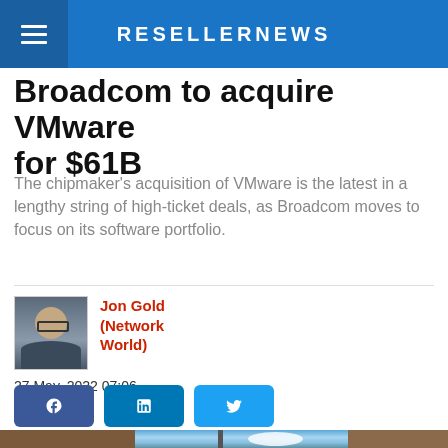RESELLERNEWS
Broadcom to acquire VMware for $61B
The chipmaker's acquisition of VMware is the latest in a lengthy string of high-ticket deals, as Broadcom moves to focus on its software portfolio.
Jon Gold (Network World)
27 May, 2022 07:06
[Figure (other): Social sharing buttons for Facebook, LinkedIn, and Twitter]
[Figure (photo): Exterior photo showing rooftop of building against blue sky with clouds and a lamp post]